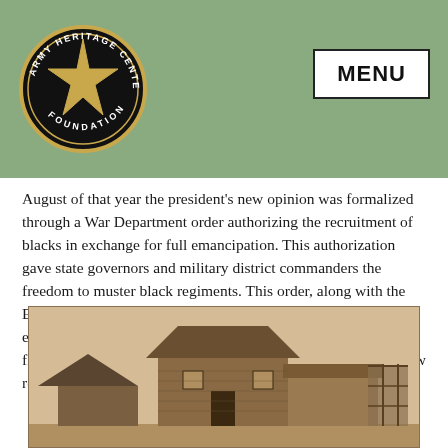[Figure (logo): Army Heritage Center Foundation circular logo with star in center on black background]
MENU
August of that year the president's new opinion was formalized through a War Department order authorizing the recruitment of blacks in exchange for full emancipation.  This authorization gave state governors and military district commanders the freedom to muster black regiments.  This order, along with the Emancipation Proclamation, soon resulted in thousands of emancipated and escaped slaves, contrabands, and freedmen flocking to recruiters charged with raising the manpower for new regiments.
[Figure (photo): Black and white historical photograph of a wooden building or structure, likely a Civil War era contraband or military camp building]